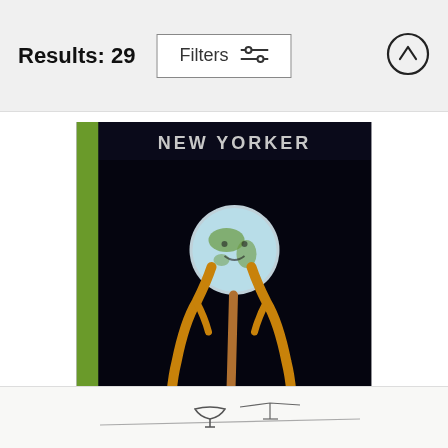Results: 29
[Figure (screenshot): Filters button with slider icon and an up-arrow circle button in the top bar]
[Figure (photo): New Yorker magazine cover dated May 31 1952, illustrated by Roger Duvoisin. Dark background with figures holding up a glowing globe/moon.]
New Yorker May 31 1952
Roger Duvoisin
[Figure (illustration): Partial view of a line drawing/sketch at the bottom of the page, showing what appears to be a bird or abstract figure on a line.]